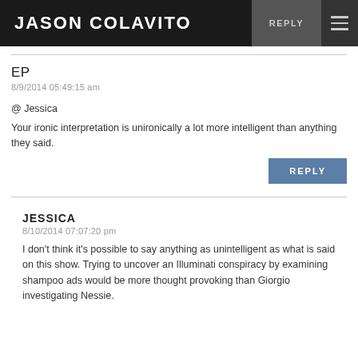JASON COLAVITO
EP
8/9/2014 05:49:15 am
@ Jessica
Your ironic interpretation is unironically a lot more intelligent than anything they said.
JESSICA
8/10/2014 07:07:20 pm
I don't think it's possible to say anything as unintelligent as what is said on this show. Trying to uncover an Illuminati conspiracy by examining shampoo ads would be more thought provoking than Giorgio investigating Nessie.